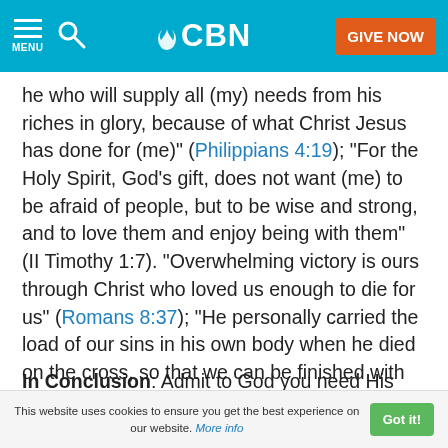CBN - MENU / Search / GIVE NOW
he who will supply all (my) needs from his riches in glory, because of what Christ Jesus has done for (me)" (Philippians 4:19); "For the Holy Spirit, God's gift, does not want (me) to be afraid of people, but to be wise and strong, and to love them and enjoy being with them" (II Timothy 1:7). "Overwhelming victory is ours through Christ who loved us enough to die for us" (Romans 8:37); "He personally carried the load of our sins in his own body when he died on the cross, so that we can be finished with sin and live a good life from now on. For his wounds have healed ours!" (I Peter 2:24).
In Conclusion: Admit to God you need His help in order
This website uses cookies to ensure you get the best experience on our website. More info  Got it!